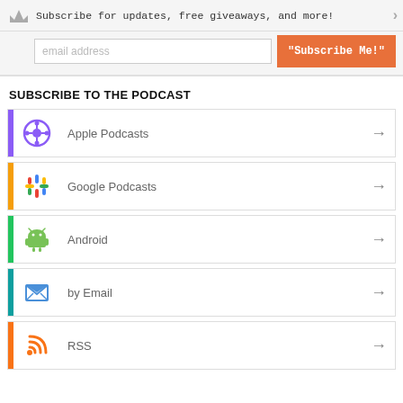[Figure (screenshot): Email subscription bar with crown icon, email input field, and orange Subscribe Me button]
SUBSCRIBE TO THE PODCAST
Apple Podcasts
Google Podcasts
Android
by Email
RSS